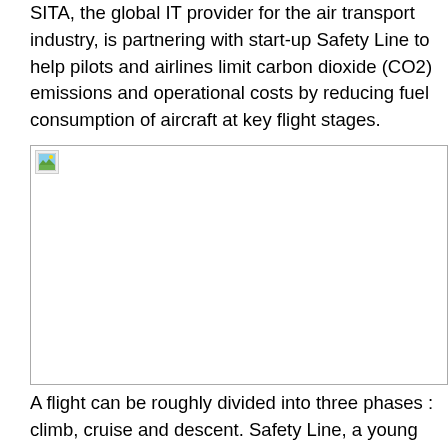SITA, the global IT provider for the air transport industry, is partnering with start-up Safety Line to help pilots and airlines limit carbon dioxide (CO2) emissions and operational costs by reducing fuel consumption of aircraft at key flight stages.
[Figure (photo): A broken/missing image placeholder showing a small image icon with a landscape/scenery thumbnail in the top-left corner, with a border around the image area.]
A flight can be roughly divided into three phases : climb, cruise and descent. Safety Line, a young French company